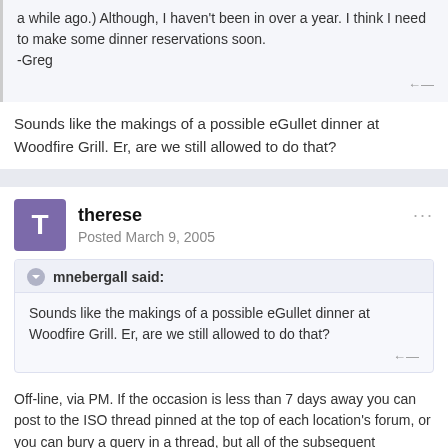a while ago.)  Although, I haven't been in over a year.  I think I need to make some dinner reservations soon.
-Greg
Sounds like the makings of a possible eGullet dinner at Woodfire Grill. Er, are we still allowed to do that?
therese
Posted March 9, 2005
mnebergall said:
Sounds like the makings of a possible eGullet dinner at Woodfire Grill. Er, are we still allowed to do that?
Off-line, via PM. If the occasion is less than 7 days away you can post to the ISO thread pinned at the top of each location's forum, or you can bury a query in a thread, but all of the subsequent